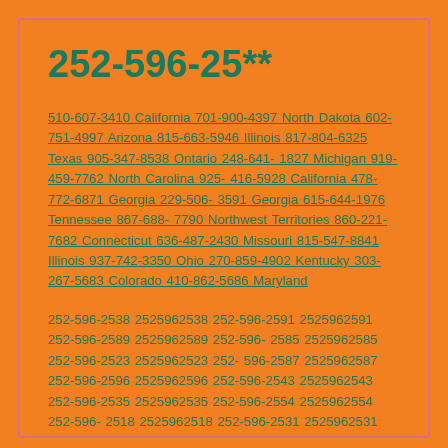252-596-25**
510-607-3410 California 701-900-4397 North Dakota 602-751-4997 Arizona 815-663-5946 Illinois 817-804-6325 Texas 905-347-8538 Ontario 248-641-1827 Michigan 919-459-7762 North Carolina 925-416-5928 California 478-772-6871 Georgia 229-506-3591 Georgia 615-644-1976 Tennessee 867-688-7790 Northwest Territories 860-221-7682 Connecticut 636-487-2430 Missouri 815-547-8841 Illinois 937-742-3350 Ohio 270-859-4902 Kentucky 303-267-5683 Colorado 410-862-5686 Maryland
252-596-2538 2525962538 252-596-2591 2525962591 252-596-2589 2525962589 252-596-2585 2525962585 252-596-2523 2525962523 252-596-2587 2525962587 252-596-2596 2525962596 252-596-2543 2525962543 252-596-2535 2525962535 252-596-2554 2525962554 252-596-2518 2525962518 252-596-2531 2525962531 252-